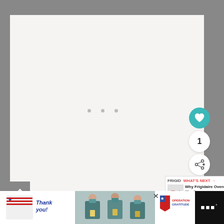[Figure (screenshot): Web page screenshot showing a large light-gray image panel with three pagination dots, a teal heart/like button, a count of 1, a share button, a gray back-to-top button, and a 'WHAT'S NEXT' widget showing 'Why Frigidaire Oven Won't...']
[Figure (photo): Bottom advertisement banner: 'Thank you!' handwritten text with American flag design on left, nurses holding cards in center, Operation Gratitude logo on right, WeatherBug branding on far right. Black background with white ad panel.]